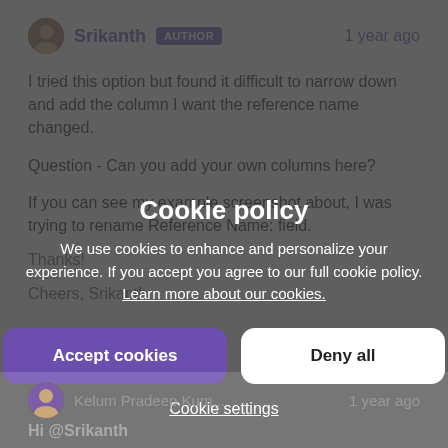Srikanth AUTHOR — 1 year ago
I tried this option but found it difficult to narrow down and add the column I want the reference name changed.
Question - Can you add your own columns here?
If you can see my example screenshot about, I was trying to rename Reference Name: field.
Thanks!
Cheers, Srikanth
Cookie policy — We use cookies to enhance and personalize your experience. If you accept you agree to our full cookie policy. Learn more about our cookies.
Accept cookies
Deny all
Cookie settings
Kelum Pradeep Kum... 1 year ago
Hi @Srikanth